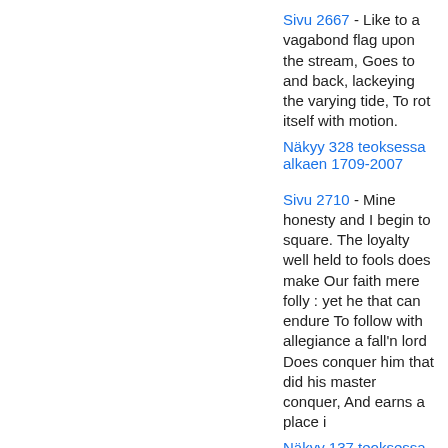Sivu 2667 - Like to a vagabond flag upon the stream, Goes to and back, lackeying the varying tide, To rot itself with motion. Näkyy 328 teoksessa alkaen 1709-2007
Sivu 2710 - Mine honesty and I begin to square. The loyalty well held to fools does make Our faith mere folly : yet he that can endure To follow with allegiance a fall'n lord Does conquer him that did his master conquer, And earns a place i Näkyy 137 teoksessa alkaen 1709-2007